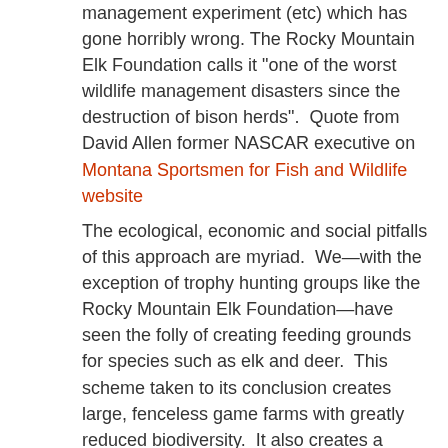management experiment (etc) which has gone horribly wrong. The Rocky Mountain Elk Foundation calls it "one of the worst wildlife management disasters since the destruction of bison herds".  Quote from David Allen former NASCAR executive on Montana Sportsmen for Fish and Wildlife website
The ecological, economic and social pitfalls of this approach are myriad.  We—with the exception of trophy hunting groups like the Rocky Mountain Elk Foundation—have seen the folly of creating feeding grounds for species such as elk and deer.  This scheme taken to its conclusion creates large, fenceless game farms with greatly reduced biodiversity.  It also creates a dynamic to spread more wildlife diseases faster.  If you want chronic wasting disease and Brucellosis hot spots—please